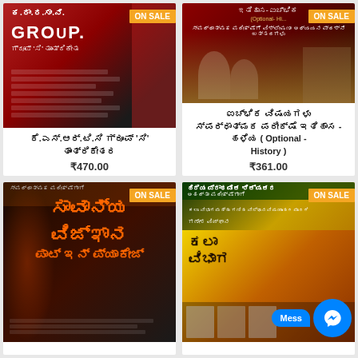[Figure (photo): Book cover: ಕೆ.ಎಸ್.ಆರ್.ಟಿ.ಸಿ ಗ್ರೂಪ್ 'ಸಿ' ತಾಂತ್ರಿಕೇತರ - red and dark cover with GROUP text and Kannada script, ON SALE badge]
ಕೆ.ಎಸ್.ಆರ್.ಟಿ.ಸಿ ಗ್ರೂಪ್ 'ಸಿ'
ತಾಂತ್ರಿಕೇತರ
₹470.00
[Figure (photo): Book cover: ಇತಿಹಾಸ ಐಚ್ಛಿಕ - ಹಳೆಯ ಭಾರತ (Optional - History) - dark red cover with historical figures, ON SALE badge]
ಐಚ್ಛಿಕ ವಿಷಯಗಳು
ಸ್ಪರ್ಧಾತ್ಮಕ ಪರೀಕ್ಷೆಗೆ ಇತಿಹಾಸ -
ಹಳೆಯ ( Optional -
History )
₹361.00
[Figure (photo): Book cover: ಸಾಮಾನ್ಯ ವಿಜ್ಞಾನ ಪಾಟ್ ಇನ್ ಪ್ಯಾಕೇಜ್ - dark cover with fire/orange graphic, ON SALE badge]
[Figure (photo): Book cover: ಹಿರಿಯ ಪ್ರಾಥಮಿಕ ಶಿಕ್ಷಕರ ಅಹರ್ತಾ ಪರೀಕ್ಷೆ - kala vibhaga, yellow and brown cover, ON SALE badge, Messenger chat button overlay]